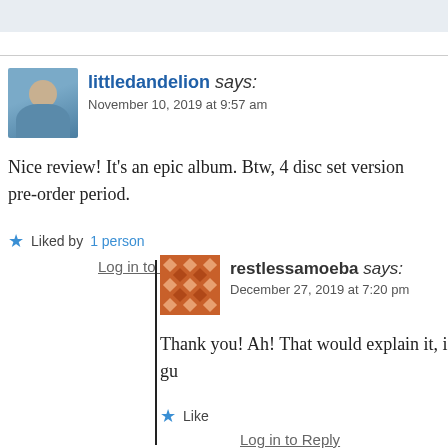littledandelion says:
November 10, 2019 at 9:57 am
Nice review! It's an epic album. Btw, 4 disc set version pre-order period.
Liked by 1 person
Log in to Reply
restlessamoeba says:
December 27, 2019 at 7:20 pm
Thank you! Ah! That would explain it, i gu
Like
Log in to Reply